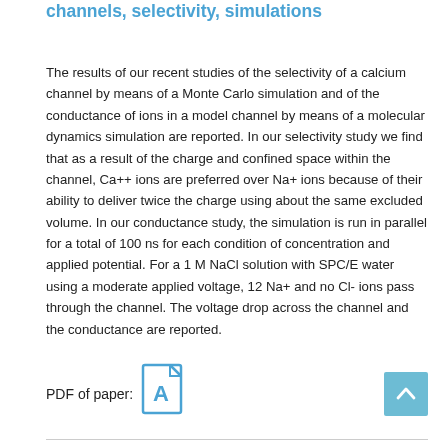channels, selectivity, simulations
The results of our recent studies of the selectivity of a calcium channel by means of a Monte Carlo simulation and of the conductance of ions in a model channel by means of a molecular dynamics simulation are reported. In our selectivity study we find that as a result of the charge and confined space within the channel, Ca++ ions are preferred over Na+ ions because of their ability to deliver twice the charge using about the same excluded volume. In our conductance study, the simulation is run in parallel for a total of 100 ns for each condition of concentration and applied potential. For a 1 M NaCl solution with SPC/E water using a moderate applied voltage, 12 Na+ and no Cl- ions pass through the channel. The voltage drop across the channel and the conductance are reported.
PDF of paper: